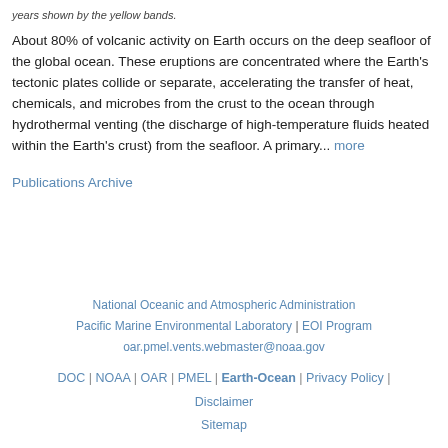years shown by the yellow bands.
About 80% of volcanic activity on Earth occurs on the deep seafloor of the global ocean. These eruptions are concentrated where the Earth's tectonic plates collide or separate, accelerating the transfer of heat, chemicals, and microbes from the crust to the ocean through hydrothermal venting (the discharge of high-temperature fluids heated within the Earth's crust) from the seafloor. A primary... more
Publications Archive
National Oceanic and Atmospheric Administration | Pacific Marine Environmental Laboratory | EOI Program | oar.pmel.vents.webmaster@noaa.gov | DOC | NOAA | OAR | PMEL | Earth-Ocean | Privacy Policy | Disclaimer | Sitemap